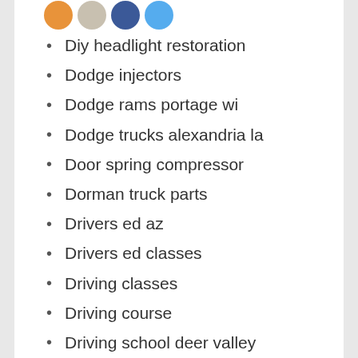[Figure (other): Row of social media / sharing icon circles (orange, gray, blue, teal) partially visible at top]
Diy headlight restoration
Dodge injectors
Dodge rams portage wi
Dodge trucks alexandria la
Door spring compressor
Dorman truck parts
Drivers ed az
Drivers ed classes
Driving classes
Driving course
Driving school deer valley